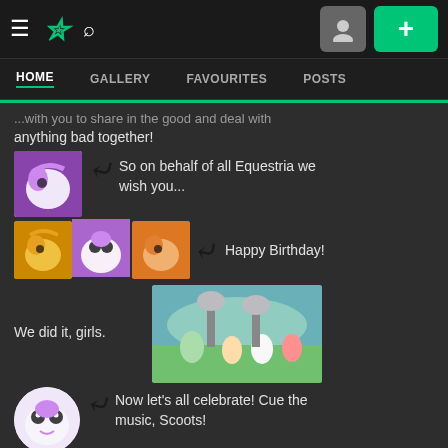DeviantArt navigation bar with hamburger menu, DA logo, search icon, user icon, plus button
HOME | GALLERY | FAVOURITES | POSTS
...with you to share in the good and deal with anything bad together!
[Figure (illustration): Sweetie Belle pony avatar thumbnail - purple and white unicorn]
So on behalf of all Equestria we wish you...
[Figure (illustration): Three pony thumbnails side by side - Apple Bloom, Sweetie Belle, Scootaloo]
Happy Birthday!
[Figure (illustration): Scene showing ponies on a field]
We did it, girls.
[Figure (illustration): Sweetie Belle round avatar - white unicorn with big eyes]
Now let's all celebrate! Cue the music, Scoots!
[Figure (illustration): Scootaloo pony thumbnail - orange pegasus]